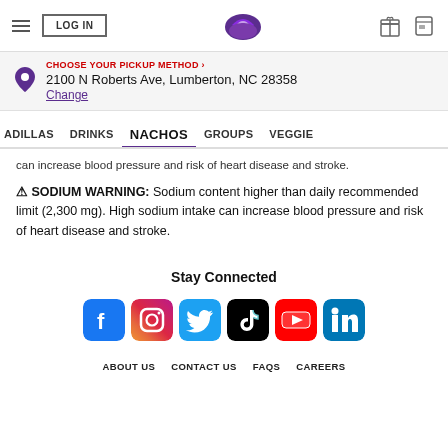LOG IN | Taco Bell | 2100 N Roberts Ave, Lumberton, NC 28358
CHOOSE YOUR PICKUP METHOD › 2100 N Roberts Ave, Lumberton, NC 28358 Change
ADILLAS  DRINKS  NACHOS  GROUPS  VEGGIE
can increase blood pressure and risk of heart disease and stroke.
⚠ SODIUM WARNING: Sodium content higher than daily recommended limit (2,300 mg). High sodium intake can increase blood pressure and risk of heart disease and stroke.
Stay Connected
[Figure (other): Social media icons: Facebook, Instagram, Twitter, TikTok, YouTube, LinkedIn]
ABOUT US  CONTACT US  FAQS  CAREERS